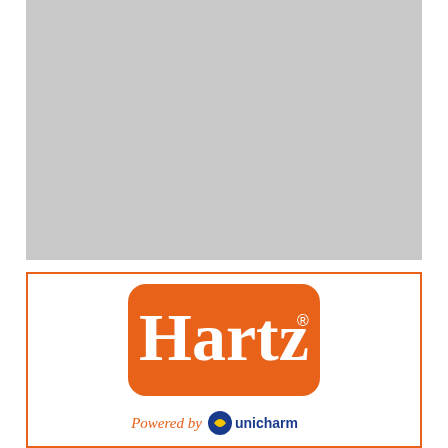[Figure (photo): Gray placeholder image area in the upper portion of the page]
[Figure (logo): Hartz brand logo - orange rounded rectangle with white 'Hartz' text and registered trademark symbol, with 'Powered by Unicharm' text below, all contained in an orange-bordered white box]